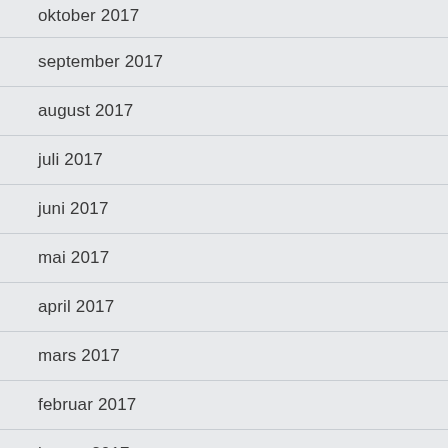oktober 2017
september 2017
august 2017
juli 2017
juni 2017
mai 2017
april 2017
mars 2017
februar 2017
januar 2017
desember 2016